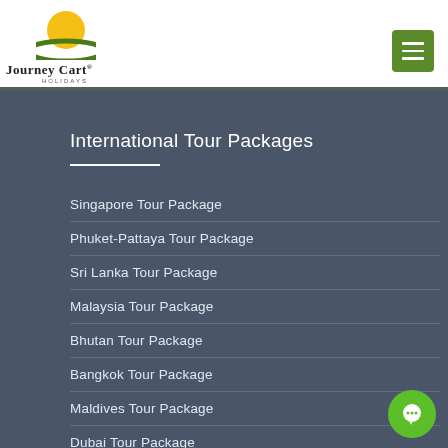[Figure (logo): Journey Cart Holidays logo with yellow sun above green arch and company name]
[Figure (other): Green hamburger menu button in top right corner]
International Tour Packages
Singapore Tour Package
Phuket-Pattaya Tour Package
Sri Lanka Tour Package
Malaysia Tour Package
Bhutan Tour Package
Bangkok Tour Package
Maldives Tour Package
Dubai Tour Package
Bali Tour Package